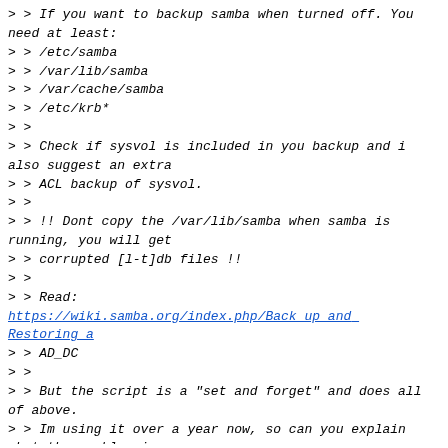> > If you want to backup samba when turned off. You need at least:
> > /etc/samba
> > /var/lib/samba
> > /var/cache/samba
> > /etc/krb*
> >
> > Check if sysvol is included in you backup and i also suggest an extra
> > ACL backup of sysvol.
> >
> > !! Dont copy the /var/lib/samba when samba is running, you will get
> > corrupted [l-t]db files !!
> >
> > Read:
https://wiki.samba.org/index.php/Back_up_and_Restoring_a
> > AD_DC
> >
> > But the script is a "set and forget" and does all of above.
> > Im using it over a year now, so can you explain what the problem is
> > with the backup script.
> >
> > And i agree, its a "hard" to read script, so why not ..
> > Just dont read it, get it, set it and enjoy it.
> > If it does not work, report it on the list and we can try to help